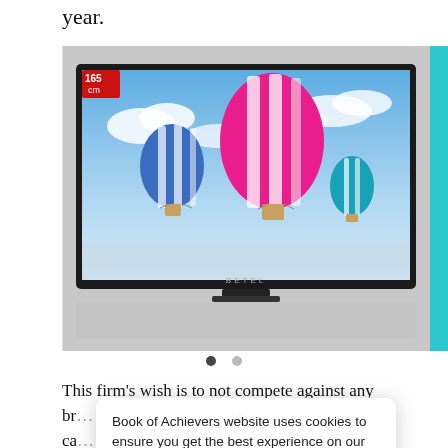year.
[Figure (photo): A flat-screen television mounted on a wall displaying hot air balloons against a blue sky. The TV screen shows three colorful hot air balloons. A red badge in the top-left corner of the screen reads '165 cm'. The brand name 'BETEL' appears at the bottom of the screen.]
This firm’s wish is to not compete against any br… n ca… pr… to…
Book of Achievers website uses cookies to ensure you get the best experience on our website  learn more
Grand Success. The secret to their success is their vision. Their philosophy is to always try to bridge…